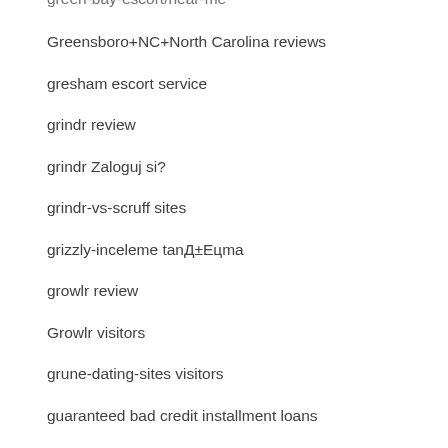green-bay-escort/near-me
Greensboro+NC+North Carolina reviews
gresham escort service
grindr review
grindr Zaloguj si?
grindr-vs-scruff sites
grizzly-inceleme tanД±Eцma
growlr review
Growlr visitors
grune-dating-sites visitors
guaranteed bad credit installment loans
guyspy kosten
guyspy review
guyspy visitors
guyspy_NL review